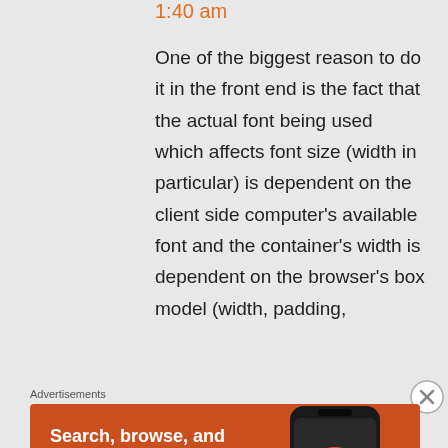1:40 am
One of the biggest reason to do it in the front end is the fact that the actual font being used which affects font size (width in particular) is dependent on the client side computer's available font and the container's width is dependent on the browser's box model (width, padding,
Advertisements
[Figure (illustration): DuckDuckGo advertisement banner with orange background showing 'Search, browse, and email with more privacy. All in One Free App' text on the left and a stylized phone with DuckDuckGo logo on the right.]